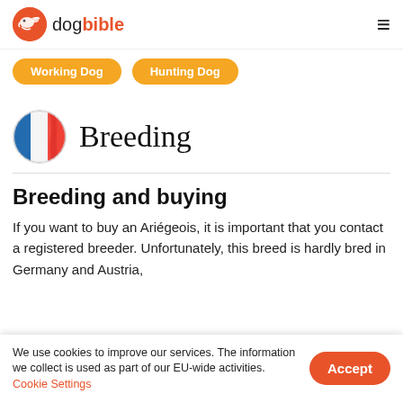dog bible
Working Dog
Hunting Dog
[Figure (illustration): French flag in a circle]
Breeding
Breeding and buying
If you want to buy an Ariégeois, it is important that you contact a registered breeder. Unfortunately, this breed is hardly bred in Germany and Austria,
We use cookies to improve our services. The information we collect is used as part of our EU-wide activities. Cookie Settings
Accept